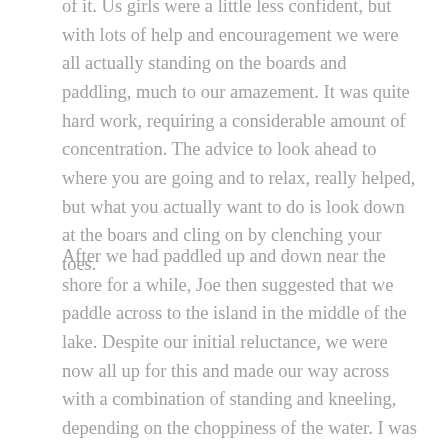of it. Us girls were a little less confident, but with lots of help and encouragement we were all actually standing on the boards and paddling, much to our amazement. It was quite hard work, requiring a considerable amount of concentration. The advice to look ahead to where you are going and to relax, really helped, but what you actually want to do is look down at the boars and cling on by clenching your toes.
After we had paddled up and down near the shore for a while, Joe then suggested that we paddle across to the island in the middle of the lake. Despite our initial reluctance, we were now all up for this and made our way across with a combination of standing and kneeling, depending on the choppiness of the water. I was mostly kneeling, as I still did not feel